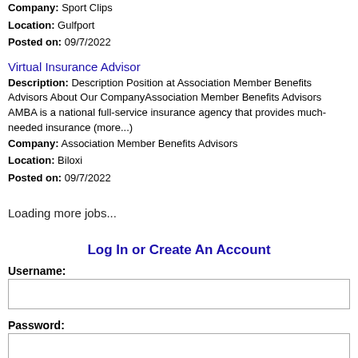Company: Sport Clips
Location: Gulfport
Posted on: 09/7/2022
Virtual Insurance Advisor
Description: Description Position at Association Member Benefits Advisors About Our CompanyAssociation Member Benefits Advisors AMBA is a national full-service insurance agency that provides much-needed insurance (more...)
Company: Association Member Benefits Advisors
Location: Biloxi
Posted on: 09/7/2022
Loading more jobs...
Log In or Create An Account
Username:
Password: